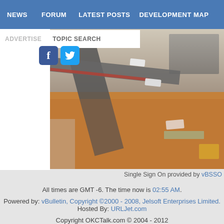NEWS | FORUM | LATEST POSTS | DEVELOPMENT MAP
ADVERTISE   TOPIC SEARCH
[Figure (photo): Aerial view of a construction site and road from 16th floor, showing vehicles, dirt ground, and buildings]
View from 16th
-- OKCv0.1  [dropdown]
Contact Us   Home   Arch
Single Sign On provided by vBSSO
All times are GMT -6. The time now is 02:55 AM.
Powered by: vBulletin, Copyright ©2000 - 2008, Jelsoft Enterprises Limited.
Hosted By: URLJet.com
Copyright OKCTalk.com © 2004 - 2012